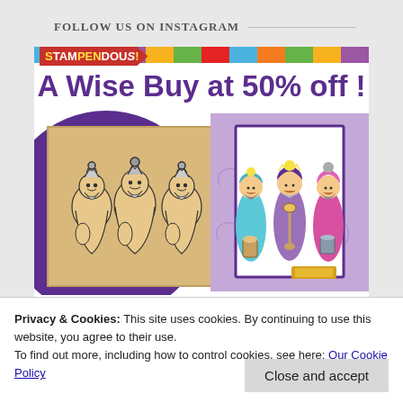FOLLOW US ON INSTAGRAM
[Figure (illustration): Stampendous brand advertisement showing 'A Wise Buy at 50% off!' with illustrations of three wise men, both as a rubber stamp and as a colored card]
Privacy & Cookies: This site uses cookies. By continuing to use this website, you agree to their use.
To find out more, including how to control cookies, see here: Our Cookie Policy
Close and accept